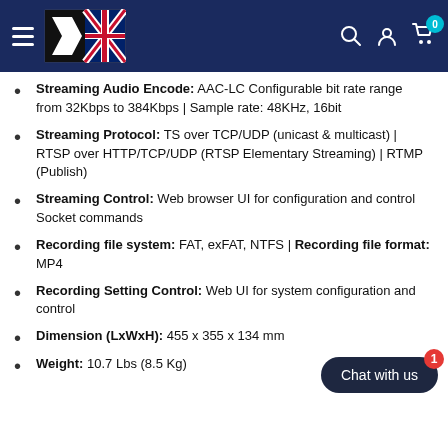Navigation header with logo and icons
Streaming Audio Encode: AAC-LC Configurable bit rate range from 32Kbps to 384Kbps | Sample rate: 48KHz, 16bit
Streaming Protocol: TS over TCP/UDP (unicast & multicast) | RTSP over HTTP/TCP/UDP (RTSP Elementary Streaming) | RTMP (Publish)
Streaming Control: Web browser UI for configuration and control Socket commands
Recording file system: FAT, exFAT, NTFS | Recording file format: MP4
Recording Setting Control: Web UI for system configuration and control
Dimension (LxWxH): 455 x 355 x 134 mm
Weight: 10.7Lbs (8.5 Kg)